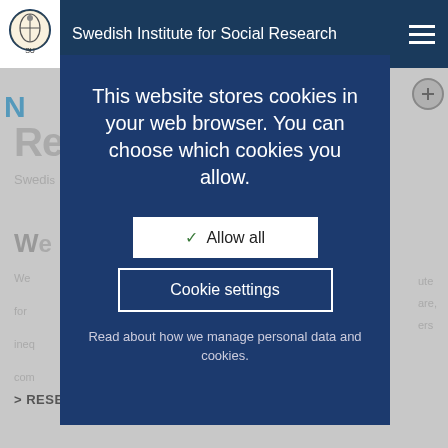Swedish Institute for Social Research
This website stores cookies in your web browser. You can choose which cookies you allow.
✓ Allow all
Cookie settings
Read about how we manage personal data and cookies.
RESEARCH SUBJECTS